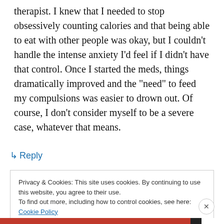therapist. I knew that I needed to stop obsessively counting calories and that being able to eat with other people was okay, but I couldn't handle the intense anxiety I'd feel if I didn't have that control. Once I started the meds, things dramatically improved and the “need” to feed my compulsions was easier to drown out. Of course, I don’t consider myself to be a severe case, whatever that means.
↳ Reply
Privacy & Cookies: This site uses cookies. By continuing to use this website, you agree to their use.
To find out more, including how to control cookies, see here: Cookie Policy